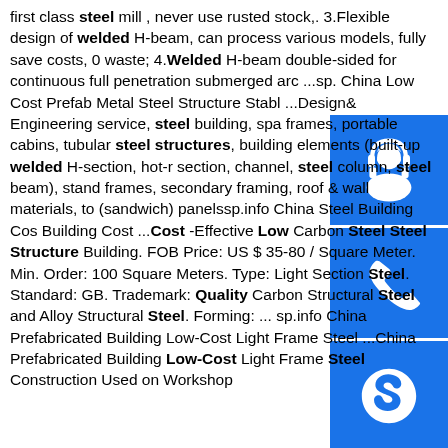first class steel mill , never use rusted stock,. 3.Flexible design of welded H-beam, can process various models, fully save costs, 0 waste; 4.Welded H-beam double-sided for continuous full penetration submerged arc ...sp. China Low Cost Prefab Metal Steel Structure Stabl ...Design& Engineering service, steel building, spa frames, portable cabins, tubular steel structures, building elements (built-up welded H-section, hot-r section, channel, steel column, steel beam), stand frames, secondary framing, roof & wall materials, to (sandwich) panelssp.info China Steel Building Cos Building Cost ...Cost -Effective Low Carbon Steel Steel Structure Building. FOB Price: US $ 35-80 / Square Meter. Min. Order: 100 Square Meters. Type: Light Section Steel. Standard: GB. Trademark: Quality Carbon Structural Steel and Alloy Structural Steel. Forming: ... sp.info China Prefabricated Building Low-Cost Light Frame Steel ...China Prefabricated Building Low-Cost Light Frame Steel Construction Used on Workshop
[Figure (illustration): Blue square button with white headset/customer service icon]
[Figure (illustration): Blue square button with white telephone icon]
[Figure (illustration): Blue square button with white Skype logo icon]